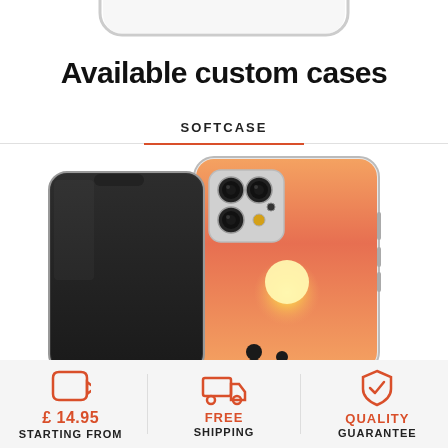[Figure (photo): Partial top view of a clear phone case (cropped, only bottom edge visible)]
Available custom cases
SOFTCASE
[Figure (photo): Two iPhone 11 Pro models showing a custom softcase with a sunset/romantic silhouette design — one face-down showing the back with the custom print, one face-forward showing the dark screen]
£ 14.95 STARTING FROM
FREE SHIPPING
QUALITY GUARANTEE